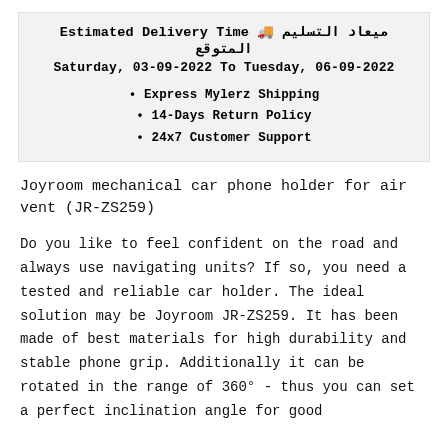ميعاد التسليم المتوقع 🚚 Estimated Delivery Time
Saturday, 03-09-2022 To Tuesday, 06-09-2022
Express Mylerz Shipping
14-Days Return Policy
24x7 Customer Support
Joyroom mechanical car phone holder for air vent (JR-ZS259)
Do you like to feel confident on the road and always use navigating units? If so, you need a tested and reliable car holder. The ideal solution may be Joyroom JR-ZS259. It has been made of best materials for high durability and stable phone grip. Additionally it can be rotated in the range of 360° - thus you can set a perfect inclination angle for good